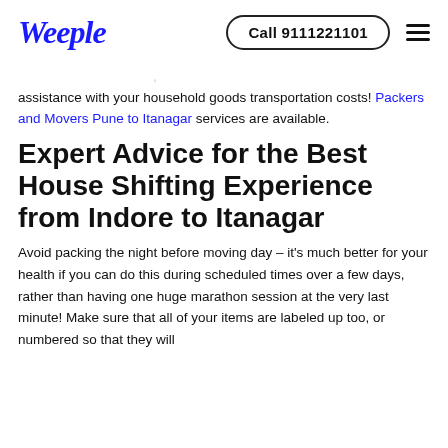Weeple | Call 9111221101
assistance with your household goods transportation costs! Packers and Movers Pune to Itanagar services are available.
Expert Advice for the Best House Shifting Experience from Indore to Itanagar
Avoid packing the night before moving day - it's much better for your health if you can do this during scheduled times over a few days, rather than having one huge marathon session at the very last minute! Make sure that all of your items are labeled up too, or numbered so that they will